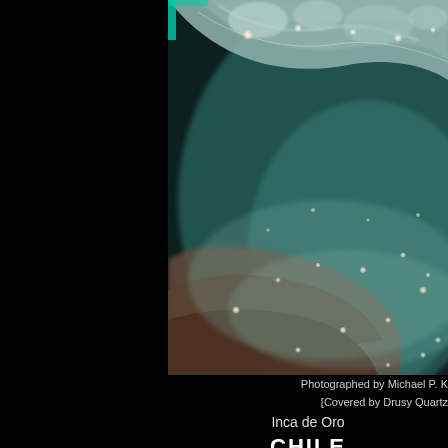[Figure (photo): Macro/close-up photograph of a mineral specimen covered by drusy quartz crystals, showing sparkling crystalline surface with teal/blue-green interior and sparkle points of light against a dark background. The mineral is Inca de Oro from Chile.]
Photographed by Michael P. K
[Covered by Drusy Quartz
Inca de Oro
CHILE